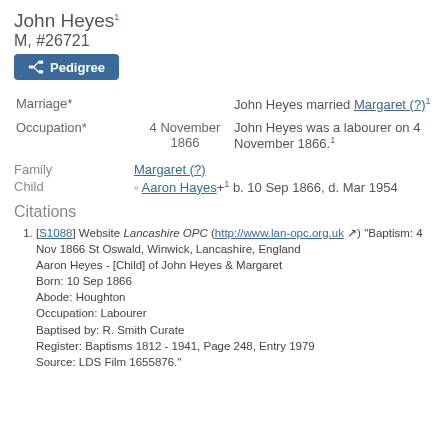John Heyes [1] M, #26721
Marriage* — John Heyes married Margaret (?)[1]
Occupation* — 4 November 1866 — John Heyes was a labourer on 4 November 1866.[1]
Family — Margaret (?)
Child — Aaron Hayes+[1] b. 10 Sep 1866, d. Mar 1954
Citations
1. [S1088] Website Lancashire OPC (http://www.lan-opc.org.uk) "Baptism: 4 Nov 1866 St Oswald, Winwick, Lancashire, England Aaron Heyes - [Child] of John Heyes & Margaret Born: 10 Sep 1866 Abode: Houghton Occupation: Labourer Baptised by: R. Smith Curate Register: Baptisms 1812 - 1941, Page 248, Entry 1979 Source: LDS Film 1655876."